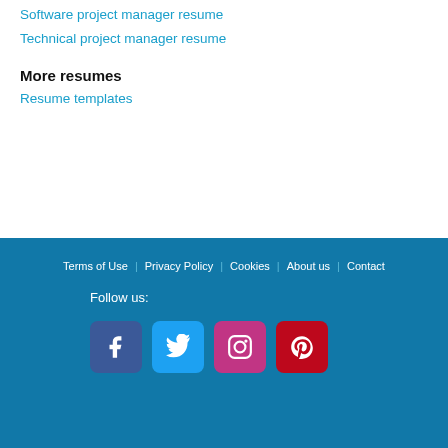Software project manager resume
Technical project manager resume
More resumes
Resume templates
Terms of Use | Privacy Policy | Cookies | About us | Contact
Follow us:
[Facebook] [Twitter] [Instagram] [Pinterest]